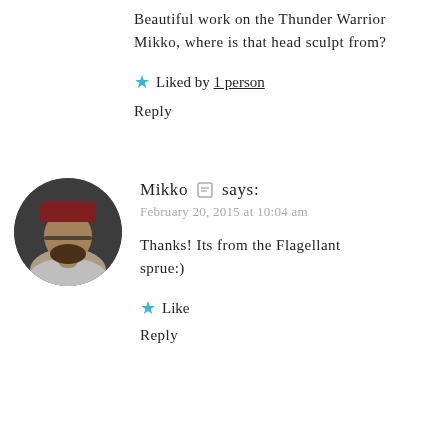Beautiful work on the Thunder Warrior Mikko, where is that head sculpt from?
Liked by 1 person
Reply
[Figure (photo): Circular avatar photo of Mikko, a person wearing a red hat and glasses, dark toned photo]
Mikko says:
February 20, 2015 at 10:04 am
Thanks! Its from the Flagellant sprue:)
Like
Reply